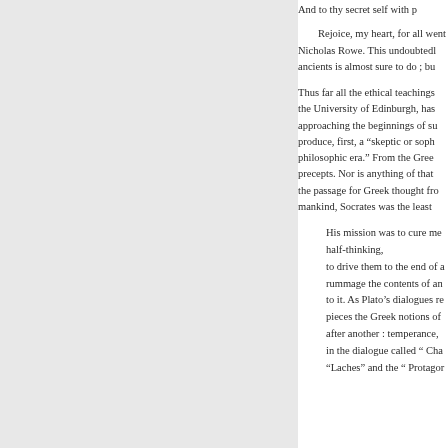And to thy secret self with p
Rejoice, my heart, for all went Nicholas Rowe. This undoubtedly ancients is almost sure to do ; bu
Thus far all the ethical teachings the University of Edinburgh, has approaching the beginnings of su produce, first, a “skeptic or soph philosophic era.” From the Gree precepts. Nor is anything of that the passage for Greek thought fro mankind, Socrates was the least
His mission was to cure me half-thinking, to drive them to the end of a rummage the contents of an to it. As Plato’s dialogues re pieces the Greek notions of after another : temperance, in the dialogue called “ Cha “Laches” and the “ Protagor